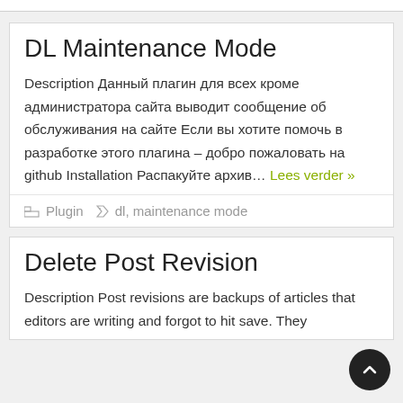DL Maintenance Mode
Description Данный плагин для всех кроме администратора сайта выводит сообщение об обслуживания на сайте Если вы хотите помочь в разработке этого плагина – добро пожаловать на github Installation Распакуйте архив… Lees verder »
Plugin   dl, maintenance mode
Delete Post Revision
Description Post revisions are backups of articles that editors are writing and forgot to hit save. They